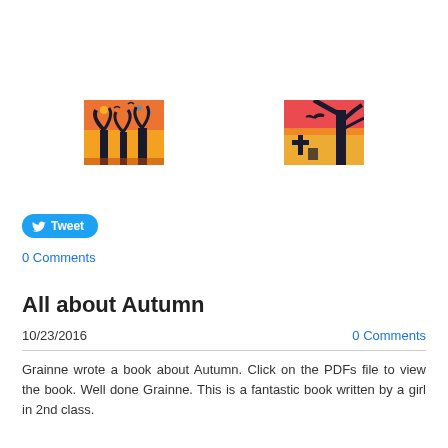[Figure (photo): Two children's autumn art paintings side by side — colorful artwork showing silhouetted trees against orange and pink painted backgrounds]
[Figure (infographic): Tweet button — blue rounded button with Twitter bird icon and 'Tweet' text]
0 Comments
All about Autumn
10/23/2016
0 Comments
Grainne wrote a book about Autumn. Click on the PDFs file to view the book. Well done Grainne. This is a fantastic book written by a girl in 2nd class.